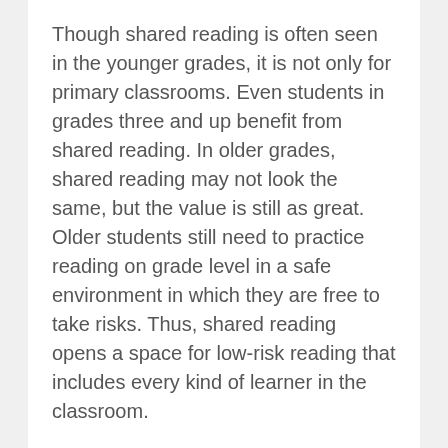Though shared reading is often seen in the younger grades, it is not only for primary classrooms. Even students in grades three and up benefit from shared reading. In older grades, shared reading may not look the same, but the value is still as great. Older students still need to practice reading on grade level in a safe environment in which they are free to take risks. Thus, shared reading opens a space for low-risk reading that includes every kind of learner in the classroom.
Shared reading can be used for more than just fiction. In fact, bringing in biographies, poetry, comics, daily news, captions, how-to instructions, and other materials that are en-gaging and relevant to students will greatly